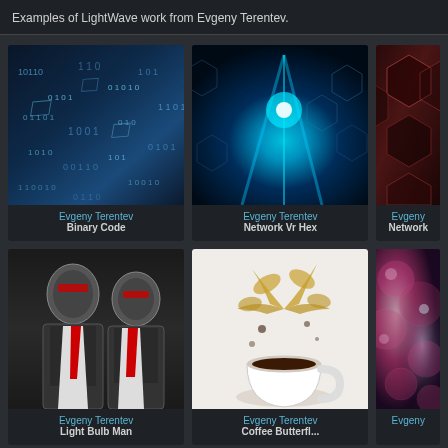Examples of LightWave work from Evgeny Terentev.
[Figure (photo): 3D render of floating binary code characters in blue tones - Binary Code by Evgeny Terentev]
Evgeny Terentev
Binary Code
[Figure (photo): 3D render of glowing blue light beam through hexagonal network structures - Network Vr Hex by Evgeny Terentev]
Evgeny Terentev
Network Vr Hex
[Figure (photo): Partial view of 3D render of dark red honeycomb hexagonal network - Network by Evgeny Terentev]
Evgeny
Network
[Figure (photo): 3D render of two humanoid robot figures in suits with red ties - Light Bulb Man by Evgeny Terentev]
Evgeny Terentev
Light Bulb Man
[Figure (photo): 3D render of coffee cup with butterfly splash in golden tones - Coffee Butterfly by Evgeny Terentev]
Evgeny Terentev
Coffee Butterfl...
[Figure (photo): Partial view of microscopic pink and purple cellular structures]
Evgeny